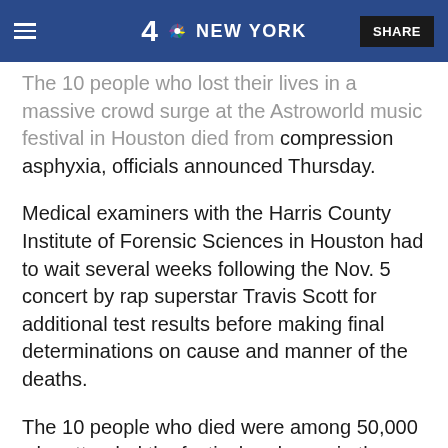4 NBC NEW YORK | SHARE
The 10 people who lost their lives in a massive crowd surge at the Astroworld music festival in Houston died from compression asphyxia, officials announced Thursday.
Medical examiners with the Harris County Institute of Forensic Sciences in Houston had to wait several weeks following the Nov. 5 concert by rap superstar Travis Scott for additional test results before making final determinations on cause and manner of the deaths.
The 10 people who died were among 50,000 who attended the festival and were in the audience when Scott's concert turned deadly.
[Figure (photo): Teal/turquoise colored image at the bottom of the page, partially visible]